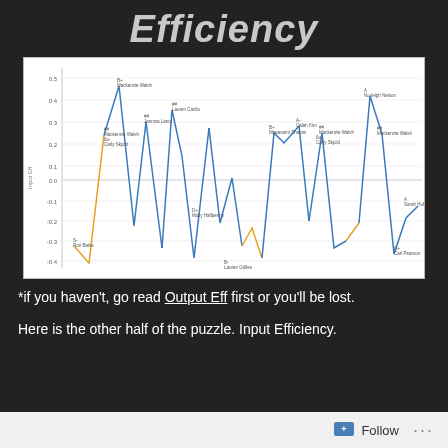Efficiency
[Figure (continuous-plot): Line chart showing input efficiency ratings for multiple players/categories. The y-axis is labeled 'Input Eff' ranging from approximately -0.4 to 0.5. Multiple named data points are annotated with letter grades (A, B+, B, B-, D, D+, F, etc.). The line zigzags dramatically up and down across many players. Some segments are highlighted in orange/gold color. Players include Mackenzie Walsh, Jennica Larco, Carly Skjold, Lauren Carillo, Maeasarni Shabini, Calah Kim, Mia, Lauren Slides, Lauren Cardinal, Mackenzie Walsh, Carly Skjold, Charlotte Huffman-Wright, Kali Balas, Molly Halfpenny, Kali Balas, Kathryne Manning, No-leigh Nelson, Lauren Grilles, Carl Pearson, Lauren Grilles, Holly Halfpenny, Rori Balas, and others.]
*if you haven't, go read Output Eff first or you'll be lost.
Here is the other half of the puzzle. Input Efficiency.